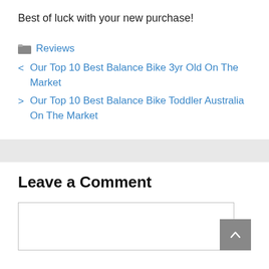Best of luck with your new purchase!
Reviews
< Our Top 10 Best Balance Bike 3yr Old On The Market
> Our Top 10 Best Balance Bike Toddler Australia On The Market
Leave a Comment